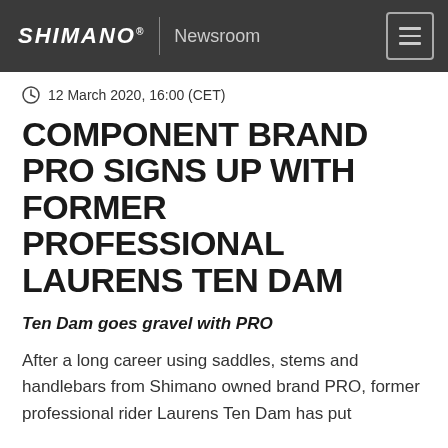SHIMANO | Newsroom
12 March 2020, 16:00 (CET)
COMPONENT BRAND PRO SIGNS UP WITH FORMER PROFESSIONAL LAURENS TEN DAM
Ten Dam goes gravel with PRO
After a long career using saddles, stems and handlebars from Shimano owned brand PRO, former professional rider Laurens Ten Dam has put